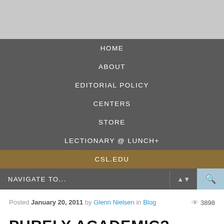[Figure (other): Gray header banner area at top of page]
HOME
ABOUT
EDITORIAL POLICY
CENTERS
STORE
LECTIONARY @ LUNCH+
CSL.EDU
NAVIGATE TO...
Posted January 20, 2011 by Glenn Nielsen in Blog  3898
PURELY ACADEMIC?